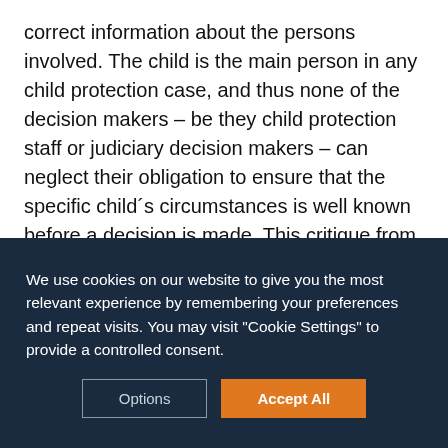correct information about the persons involved. The child is the main person in any child protection case, and thus none of the decision makers – be they child protection staff or judiciary decision makers – can neglect their obligation to ensure that the specific child´s circumstances is well known before a decision is made. This critique from the Court, is closely related to the fact that children´s participation and involvement in their own case is often neglected in child protection cases –a fact that is also telling for the Court´s practice and brings
We use cookies on our website to give you the most relevant experience by remembering your preferences and repeat visits. You may visit "Cookie Settings" to provide a controlled consent.